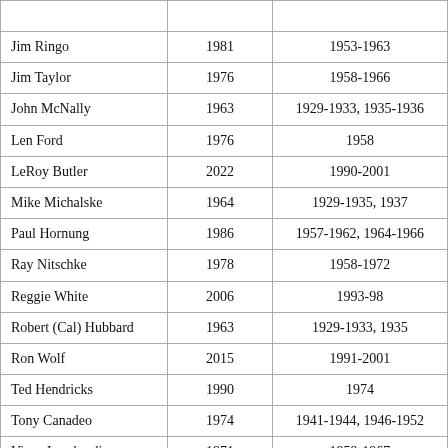| Name | Year Inducted | Years with Packers |
| --- | --- | --- |
| Jim Ringo | 1981 | 1953-1963 |
| Jim Taylor | 1976 | 1958-1966 |
| John McNally | 1963 | 1929-1933, 1935-1936 |
| Len Ford | 1976 | 1958 |
| LeRoy Butler | 2022 | 1990-2001 |
| Mike Michalske | 1964 | 1929-1935, 1937 |
| Paul Hornung | 1986 | 1957-1962, 1964-1966 |
| Ray Nitschke | 1978 | 1958-1972 |
| Reggie White | 2006 | 1993-98 |
| Robert (Cal) Hubbard | 1963 | 1929-1933, 1935 |
| Ron Wolf | 2015 | 1991-2001 |
| Ted Hendricks | 1990 | 1974 |
| Tony Canadeo | 1974 | 1941-1944, 1946-1952 |
| Vince Lombardi | 1971 | 1959-1967 |